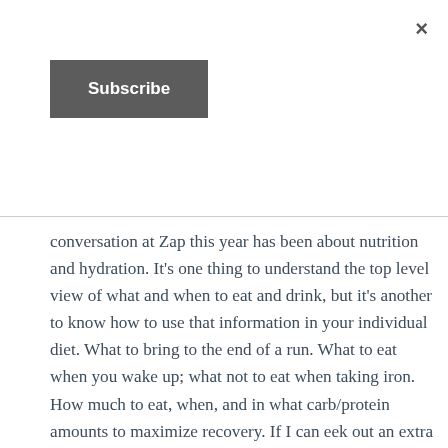×
Subscribe
conversation at Zap this year has been about nutrition and hydration. It's one thing to understand the top level view of what and when to eat and drink, but it's another to know how to use that information in your individual diet. What to bring to the end of a run. What to eat when you wake up; what not to eat when taking iron. How much to eat, when, and in what carb/protein amounts to maximize recovery. If I can eek out an extra 0.5% from a workout because I had food and hydration ready to go, awesome. It's something I never did a good job of before this.
Coming out of Momentum May the racing starts and doesn't stop until August for me. The next two races will be a mile in Nashville followed by a 5k at Portland Track Festival. Then there's the US Outdoor Championships in